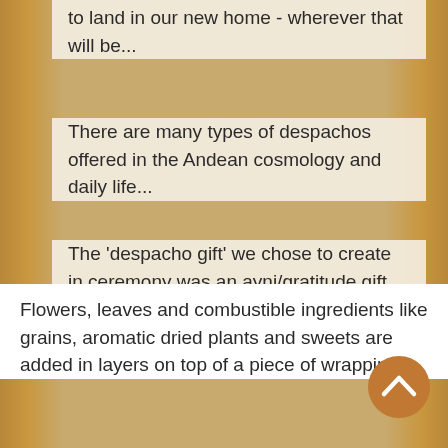to land in our new home - wherever that will be...
There are many types of despachos offered in the Andean cosmology and daily life...
The 'despacho gift' we chose to create in ceremony was an ayni/gratitude gift for our blessed earth mother, Pachamama.... (see our photo above).
Flowers, leaves and combustible ingredients like grains, aromatic dried plants and sweets are added in layers on top of a piece of wrapping
[Figure (illustration): Circular brown/amber scroll-up button with a white upward chevron arrow icon]